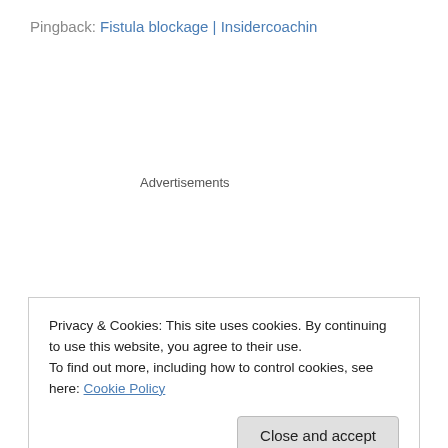Pingback: Fistula blockage | Insidercoachin
Advertisements
Privacy & Cookies: This site uses cookies. By continuing to use this website, you agree to their use.
To find out more, including how to control cookies, see here: Cookie Policy
Close and accept